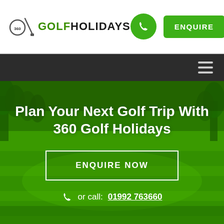[Figure (logo): 360 Golf Holidays logo with golf club graphic and company name]
ENQUIRE
[Figure (screenshot): Green golf course hero background with trees and fairway]
Plan Your Next Golf Trip With 360 Golf Holidays
ENQUIRE NOW
or call: 01992 763660